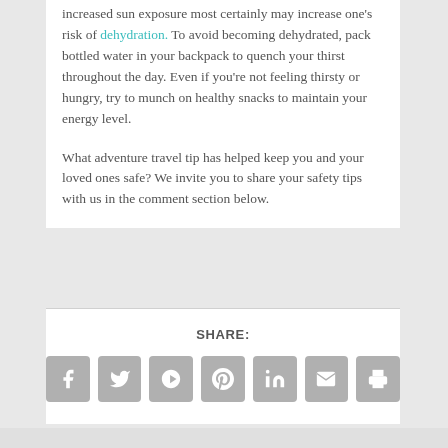increased sun exposure most certainly may increase one's risk of dehydration. To avoid becoming dehydrated, pack bottled water in your backpack to quench your thirst throughout the day. Even if you're not feeling thirsty or hungry, try to munch on healthy snacks to maintain your energy level.
What adventure travel tip has helped keep you and your loved ones safe? We invite you to share your safety tips with us in the comment section below.
SHARE:
[Figure (infographic): Row of seven social media and sharing icon buttons (Facebook, Twitter, Google+, Pinterest, LinkedIn, Email, Print) in grey rounded square buttons]